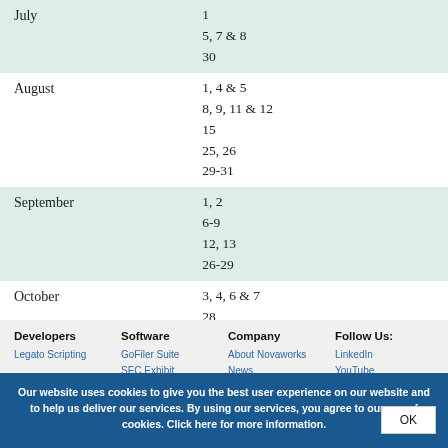| Month | Dates |
| --- | --- |
| July | 1
5, 7 & 8
30 |
| August | 1, 4 & 5
8, 9, 11 & 12
15
25, 26
29-31 |
| September | 1, 2
6-9
12, 13
26-29 |
| October | 3, 4, 6 & 7
28
31 |
| November | 1, 4
7-10
14
25
28-30 |
Developers | Software | Company | Follow Us:
Legato Scripting | GoFiler Suite | About Novaworks | LinkedIn
SEC Exhibit Explorer | News | YouTube
Site Map | RSS
Our website uses cookies to give you the best user experience on our website and to help us deliver our services. By using our services, you agree to our use of cookies. Click here for more information.